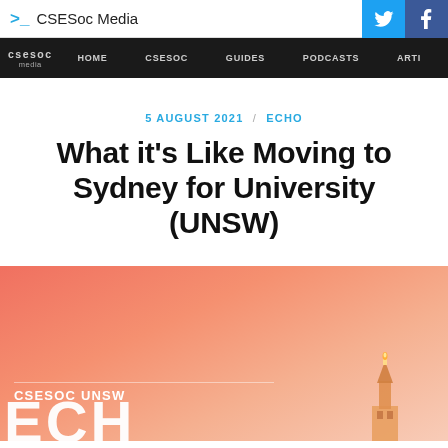CSESoc Media
HOME   CSESOC   GUIDES   PODCASTS   ARTI
5 AUGUST 2021 / ECHO
What it's Like Moving to Sydney for University (UNSW)
[Figure (illustration): Salmon/coral gradient background banner with CSESOC UNSW logo text and partial ECHO lettering, with a small candle/building illustration on the right side]